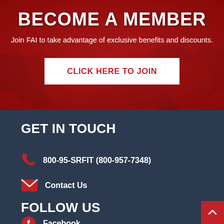BECOME A MEMBER
Join FAI to take advantage of exclusive benefits and discounts.
CLICK HERE TO JOIN
GET IN TOUCH
800-95-SRFIT (800-957-7348)
Contact Us
FOLLOW US
Facebook